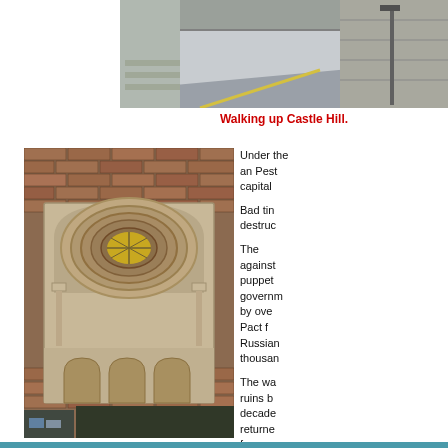[Figure (photo): View looking up Castle Hill road with stone walls on either side and a lamp post]
Walking up Castle Hill.
[Figure (photo): A beautiful stepped circular (Romanesque) window set in a deep alcove in a brick and stone wall up Castle Hill, with arched galleries below]
Under the Pact an Pest capital
Bad time destruc
The against puppet governm by over Pact fo Russian thousan
The wa ruins b decade returne former
This beautiful stepped window is in a deep alcove in the wall up Castle Hill.